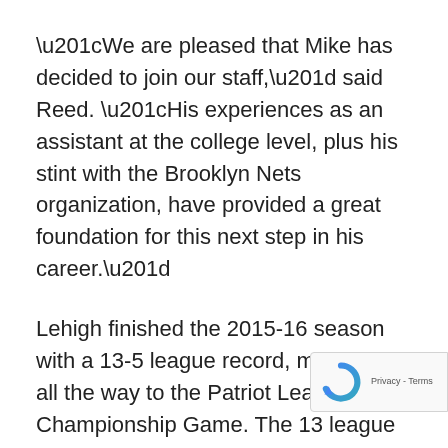“We are pleased that Mike has decided to join our staff,” said Reed. “His experiences as an assistant at the college level, plus his stint with the Brooklyn Nets organization, have provided a great foundation for this next step in his career.”
Lehigh finished the 2015-16 season with a 13-5 league record, making it all the way to the Patriot League Championship Game. The 13 league victories marked a school record while Lehigh played multiple NCAA Tournament teams in its nonleague schedule. The Mountain Hawks return fo[r] of their five starters next season, all who[...]
[Figure (logo): reCAPTCHA badge with spinning arrow logo and Privacy - Terms text]